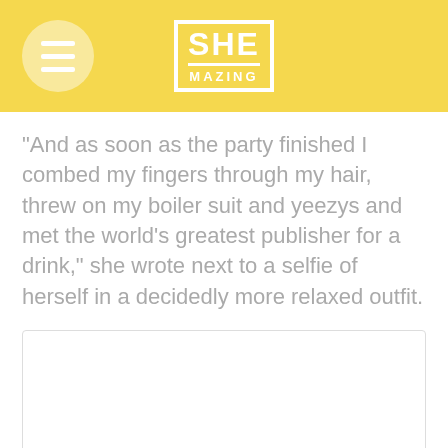SHE MAZING
"And as soon as the party finished I combed my fingers through my hair, threw on my boiler suit and yeezys and met the world's greatest publisher for a drink," she wrote next to a selfie of herself in a decidedly more relaxed outfit.
[Figure (photo): Empty white image placeholder with light gray border]